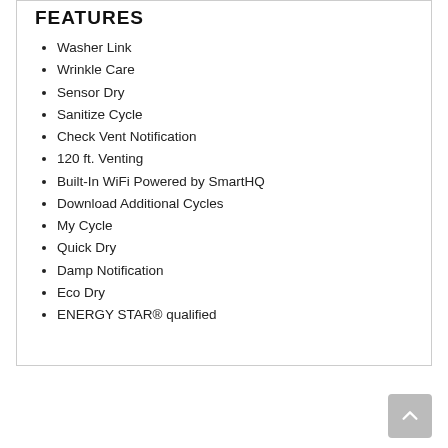FEATURES
Washer Link
Wrinkle Care
Sensor Dry
Sanitize Cycle
Check Vent Notification
120 ft. Venting
Built-In WiFi Powered by SmartHQ
Download Additional Cycles
My Cycle
Quick Dry
Damp Notification
Eco Dry
ENERGY STAR® qualified